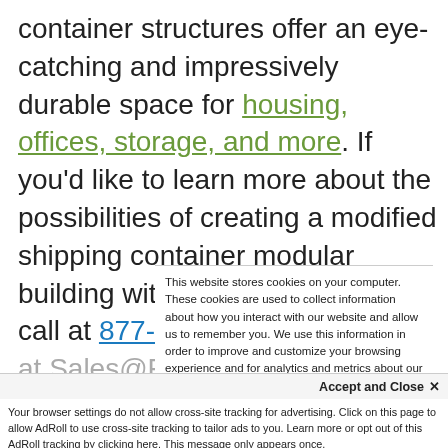container structures offer an eye-catching and impressively durable space for housing, offices, storage, and more. If you'd like to learn more about the possibilities of creating a modified shipping container modular building with Falcon, give us a call at 877-704-0177 or email us at Sales@FalconStructures.com
This website stores cookies on your computer. These cookies are used to collect information about how you interact with our website and allow us to remember you. We use this information in order to improve and customize your browsing experience and for analytics and metrics about our visitors both on this website and other media. To find out more about the cookies we use, see our Privacy Policy.
Accept and Close ×
Your browser settings do not allow cross-site tracking for advertising. Click on this page to allow AdRoll to use cross-site tracking to tailor ads to you. Learn more or opt out of this AdRoll tracking by clicking here. This message only appears once.